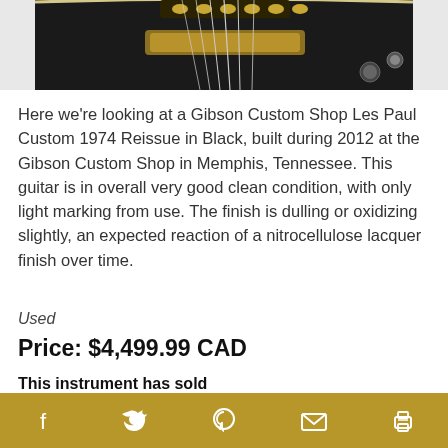[Figure (photo): Top portion of a black Gibson Les Paul Custom guitar with gold hardware, close-up of body and pickups]
Here we’re looking at a Gibson Custom Shop Les Paul Custom 1974 Reissue in Black, built during 2012 at the Gibson Custom Shop in Memphis, Tennessee. This guitar is in overall very good clean condition, with only light marking from use. The finish is dulling or oxidizing slightly, an expected reaction of a nitrocellulose lacquer finish over time.
Used
Price: $4,499.99 CAD
This instrument has sold
MORE →
Social share icons: Facebook, Twitter, Pinterest, Email, Print